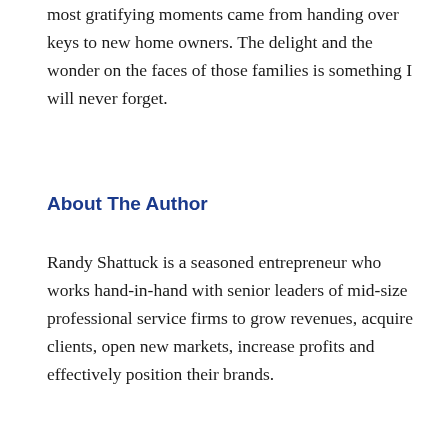most gratifying moments came from handing over keys to new home owners. The delight and the wonder on the faces of those families is something I will never forget.
About The Author
Randy Shattuck is a seasoned entrepreneur who works hand-in-hand with senior leaders of mid-size professional service firms to grow revenues, acquire clients, open new markets, increase profits and effectively position their brands.